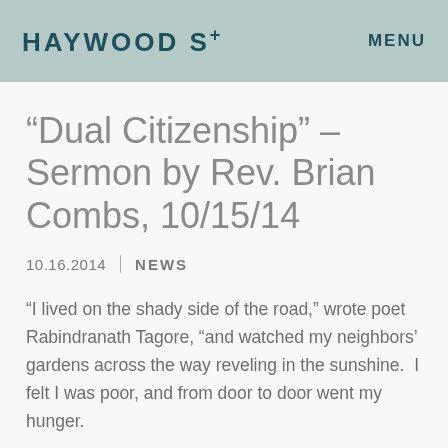HAYWOOD ST   MENU
“Dual Citizenship” – Sermon by Rev. Brian Combs, 10/15/14
10.16.2014   NEWS
“I lived on the shady side of the road,” wrote poet Rabindranath Tagore, “and watched my neighbors’ gardens across the way reveling in the sunshine.  I felt I was poor, and from door to door went my hunger.